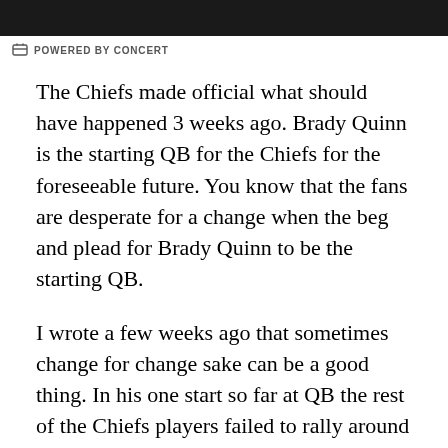[Figure (other): Dark banner image at the top of the page]
POWERED BY CONCERT
The Chiefs made official what should have happened 3 weeks ago. Brady Quinn is the starting QB for the Chiefs for the foreseeable future. You know that the fans are desperate for a change when the beg and plead for Brady Quinn to be the starting QB.
I wrote a few weeks ago that sometimes change for change sake can be a good thing. In his one start so far at QB the rest of the Chiefs players failed to rally around the back up QB. In their defense Quinn did not give them a lot to rally around with his performance vs. the Buccaneers. The Raiders, much like the Chiefs are a very bad football team. This game has all of the making of one where Quinn can be successful. Now it is up to Quinn to take advantage of the opportunity in